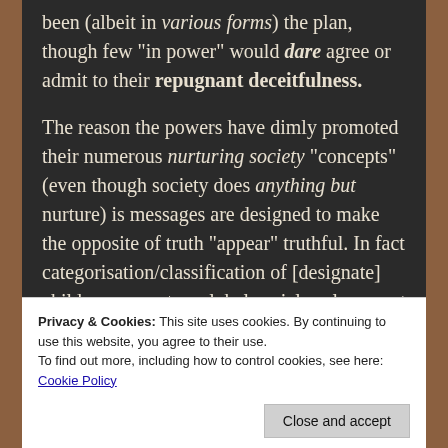been (albeit in various forms) the plan, though few "in power" would dare agree or admit to their repugnant deceitfulness.

The reason the powers have dimly promoted their numerous nurturing society "concepts" (even though society does anything but nurture) is messages are designed to make the opposite of truth "appear" truthful. In fact categorisation/classification of [designate] children supports a global social enslavement program (one of numbers of cultural adjustment frameworks that are currently processed simultaneously and connected via the
Privacy & Cookies: This site uses cookies. By continuing to use this website, you agree to their use.
To find out more, including how to control cookies, see here:
Cookie Policy
Close and accept